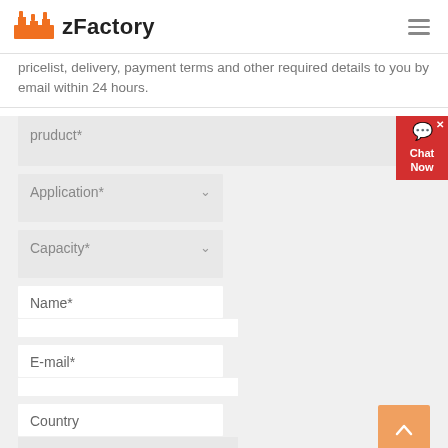zFactory
pricelist, delivery, payment terms and other required details to you by email within 24 hours.
pruduct*
Application*
Capacity*
Name*
E-mail*
Country